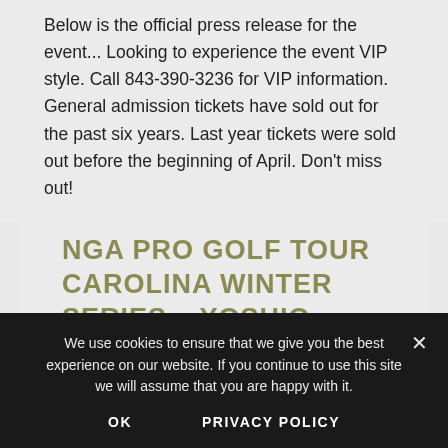Below is the official press release for the event... Looking to experience the event VIP style. Call 843-390-3236 for VIP information. General admission tickets have sold out for the past six years. Last year tickets were sold out before the beginning of April. Don't miss out!
NGA PRO GOLF TOUR CAROLINA WINTER SERIES – YOSHIO YAMAMOTO WINS AT BAREFOOT
We use cookies to ensure that we give you the best experience on our website. If you continue to use this site we will assume that you are happy with it.
OK    PRIVACY POLICY